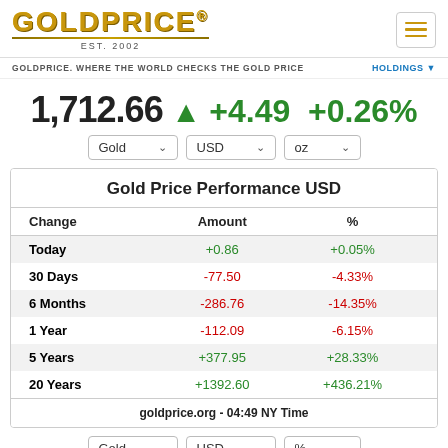[Figure (logo): GOLDPRICE logo with EST. 2002 subtitle and hamburger menu icon]
GOLDPRICE. WHERE THE WORLD CHECKS THE GOLD PRICE
HOLDINGS
1,712.66 ▲ +4.49 +0.26%
Gold USD oz dropdowns
| Change | Amount | % |
| --- | --- | --- |
| Today | +0.86 | +0.05% |
| 30 Days | -77.50 | -4.33% |
| 6 Months | -286.76 | -14.35% |
| 1 Year | -112.09 | -6.15% |
| 5 Years | +377.95 | +28.33% |
| 20 Years | +1392.60 | +436.21% |
goldprice.org - 04:49 NY Time
Gold USD % dropdowns